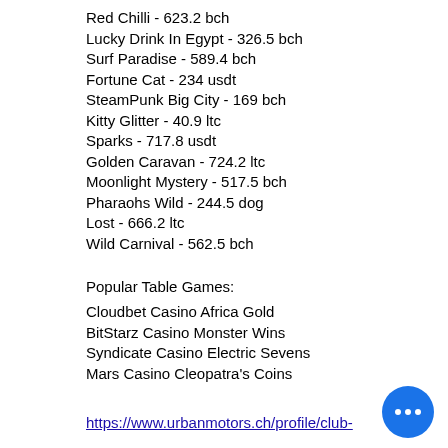Red Chilli - 623.2 bch
Lucky Drink In Egypt - 326.5 bch
Surf Paradise - 589.4 bch
Fortune Cat - 234 usdt
SteamPunk Big City - 169 bch
Kitty Glitter - 40.9 ltc
Sparks - 717.8 usdt
Golden Caravan - 724.2 ltc
Moonlight Mystery - 517.5 bch
Pharaohs Wild - 244.5 dog
Lost - 666.2 ltc
Wild Carnival - 562.5 bch
Popular Table Games:
Cloudbet Casino Africa Gold
BitStarz Casino Monster Wins
Syndicate Casino Electric Sevens
Mars Casino Cleopatra's Coins
https://www.urbanmotors.ch/profile/club-